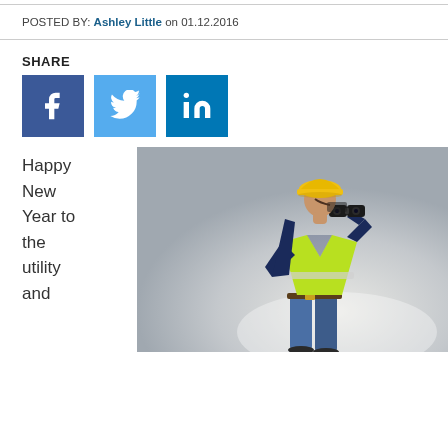POSTED BY: Ashley Little on 01.12.2016
SHARE
[Figure (other): Social share buttons: Facebook (dark blue), Twitter (light blue), LinkedIn (medium blue)]
Happy New Year to the utility and
[Figure (photo): Construction worker in yellow hard hat and high-visibility green vest looking through binoculars, standing against a grey gradient background]